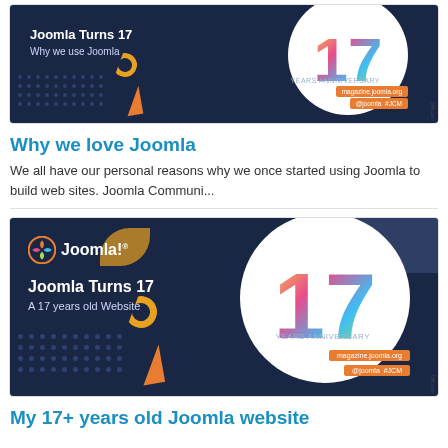[Figure (illustration): Joomla Turns 17 anniversary banner with colorful '17' in a white circle on dark navy background, text reads 'Joomla Turns 17 / Why we use Joomla', orange triangle and bar decorations, magazine.joomla.org and @joomla #JCM]
Why we love Joomla
We all have our personal reasons why we once started using Joomla to build web sites. Joomla Communi...
[Figure (illustration): Joomla! logo with Joomla Turns 17 / A 17 years old Website banner, colorful '17' in white circle on dark navy background, orange triangle and bar decorations]
My 17+ years old Joomla website